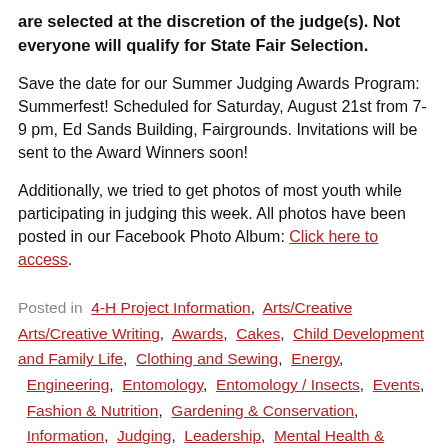are selected at the discretion of the judge(s). Not everyone will qualify for State Fair Selection.
Save the date for our Summer Judging Awards Program: Summerfest! Scheduled for Saturday, August 21st from 7-9 pm, Ed Sands Building, Fairgrounds. Invitations will be sent to the Award Winners soon!
Additionally, we tried to get photos of most youth while participating in judging this week. All photos have been posted in our Facebook Photo Album: Click here to access.
Posted in  4-H Project Information,  Arts/Creative Arts/Creative Writing,  Awards,  Cakes,  Child Development and Family Life,  Clothing and Sewing,  Energy,  Engineering,  Entomology,  Entomology / Insects,  Events,  Fashion & Nutrition,  Gardening & Conservation,  Information,  Judging,  Leadership,  Mental Health &